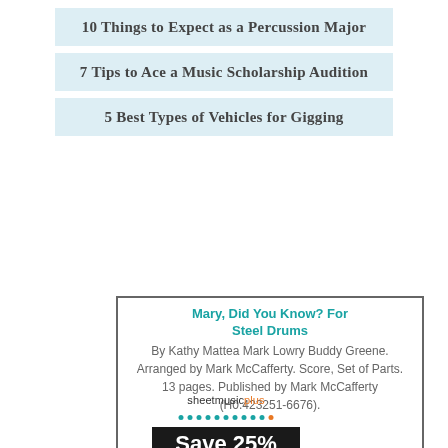10 Things to Expect as a Percussion Major
7 Tips to Ace a Music Scholarship Audition
5 Best Types of Vehicles for Gigging
[Figure (other): Product listing box for sheet music: Mary, Did You Know? For Steel Drums by Kathy Mattea Mark Lowry Buddy Greene, Arranged by Mark McCafferty. Score, Set of Parts. 13 pages. Published by Mark McCafferty (H0.423251-6676). Includes thumbnail image and 'look inside' link.]
[Figure (logo): Sheet Music Plus logo with 'Save 25% Use code FORTE Ends 4/25' promotional banner on black background.]